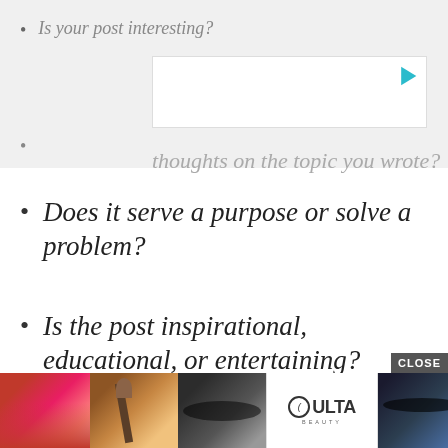Is your post interesting?
thoughts on the topic you wrote?
Does it serve a purpose or solve a problem?
Is the post inspirational, educational, or entertaining?
Do you have a clear call-to-action at the end of the post?
[Figure (other): Ulta Beauty advertisement banner with makeup product photos and SHOP NOW button]